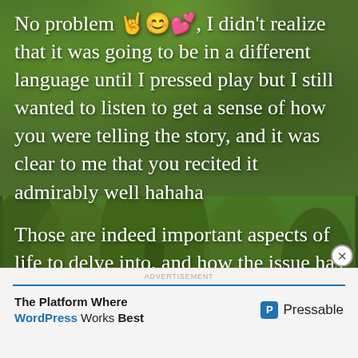[Figure (photo): Green grassy background (top) transitioning to a forest scene with trees and foliage (below), serving as backdrop for white text overlay]
No problem 🤘😊💕, I didn't realize that it was going to be in a different language until I pressed play but I still wanted to listen to get a sense of how you were telling the story, and it was clear to me that you recited it admirably well hahaha

Those are indeed important aspects of life to delve into, and how the issue has been broken down both in
The Platform Where WordPress Works Best
[Figure (logo): Pressable logo with blue P icon and text 'Pressable']